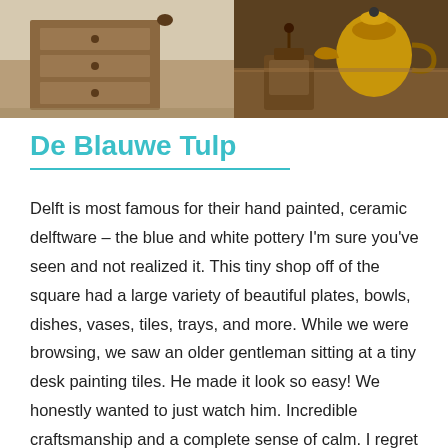[Figure (photo): Two side-by-side photos. Left photo shows a wooden desk or furniture piece with drawers against a light wall. Right photo shows antique items including a brass teapot or samovar and a coffee grinder on wooden furniture.]
De Blauwe Tulp
Delft is most famous for their hand painted, ceramic delftware – the blue and white pottery I'm sure you've seen and not realized it. This tiny shop off of the square had a large variety of beautiful plates, bowls, dishes, vases, tiles, trays, and more. While we were browsing, we saw an older gentleman sitting at a tiny desk painting tiles. He made it look so easy! We honestly wanted to just watch him. Incredible craftsmanship and a complete sense of calm. I regret not buying anything here, but I was afraid of breaking it in all of our exploring